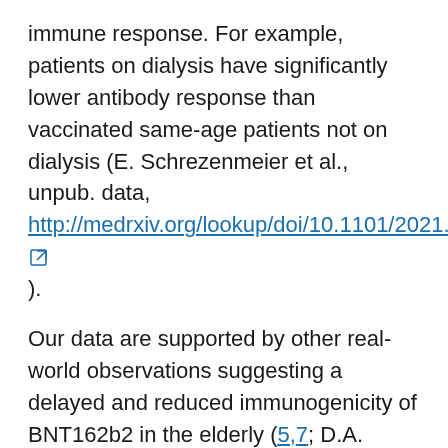immune response. For example, patients on dialysis have significantly lower antibody response than vaccinated same-age patients not on dialysis (E. Schrezenmeier et al., unpub. data, http://medrxiv.org/lookup/doi/10.1101/2021.03.31.2 [external link] ).
Our data are supported by other real-world observations suggesting a delayed and reduced immunogenicity of BNT162b2 in the elderly (5,7; D.A. Collier et al., unpub. data, http://medrxiv.org/lookup/doi/10.1101/2021.02.03.2 [external link] ). In line with our observations for BNT162b2, an effect of age-dependent decrease of immune function, referred to as immunosenescence, is well known and contributes to increased prevalence of